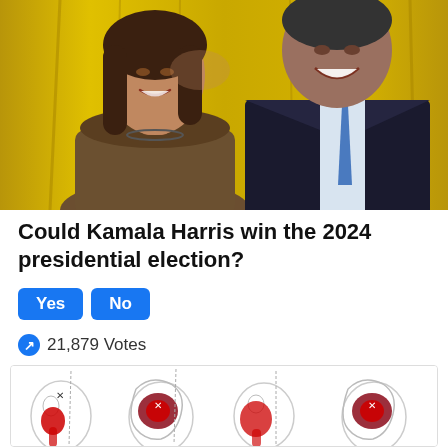[Figure (photo): Two people smiling and posing together in front of a golden/yellow curtain backdrop. One person wearing a brown jacket on the left, another in a dark suit with blue tie on the right.]
Could Kamala Harris win the 2024 presidential election?
Yes   No
21,879 Votes
[Figure (medical): Medical illustration showing four views of hip/pelvic anatomy with pain zones highlighted in red, indicating muscle or joint pain referral patterns.]